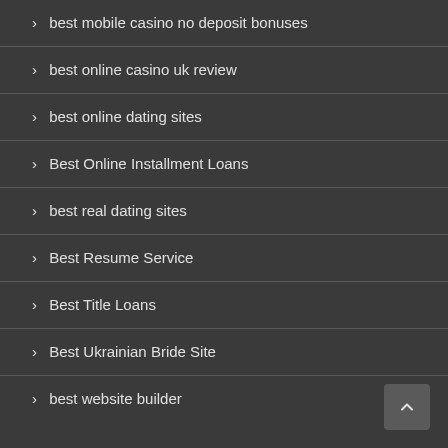> best mobile casino no deposit bonuses
> best online casino uk review
> best online dating sites
> Best Online Installment Loans
> best real dating sites
> Best Resume Service
> Best Title Loans
> Best Ukrainian Bride Site
> best website builder